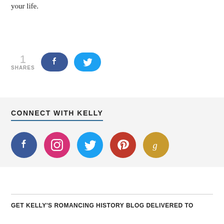your life.
[Figure (infographic): Share count showing '1 SHARES' with Facebook and Twitter share buttons]
CONNECT WITH KELLY
[Figure (infographic): Row of 5 social media icon circles: Facebook (dark blue), Instagram (pink), Twitter (light blue), Pinterest (red), Goodreads (gold)]
GET KELLY'S ROMANCING HISTORY BLOG DELIVERED TO